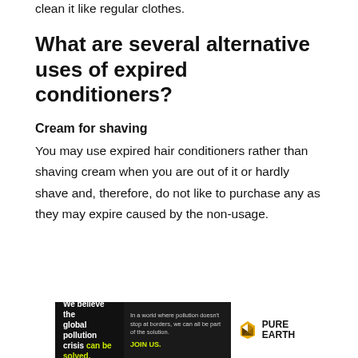immerse it in your shampoo bubbles and clean it like regular clothes.
What are several alternative uses of expired conditioners?
Cream for shaving
You may use expired hair conditioners rather than shaving cream when you are out of it or hardly shave and, therefore, do not like to purchase any as they may expire caused by the non-usage.
[Figure (other): Advertisement banner for Pure Earth organization: 'We believe the global pollution crisis can be solved.' with tagline 'In a world where pollution doesn't stop at borders, we can all be part of the solution. JOIN US.' and Pure Earth logo.]